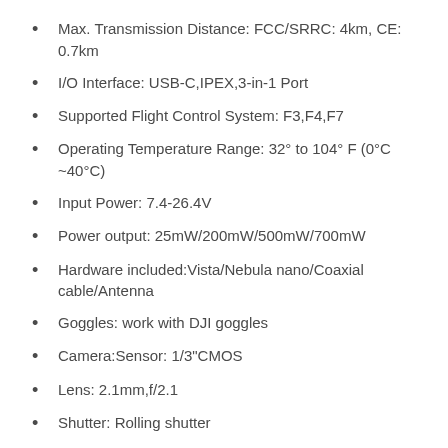Max. Transmission Distance: FCC/SRRC: 4km, CE: 0.7km
I/O Interface: USB-C,IPEX,3-in-1 Port
Supported Flight Control System: F3,F4,F7
Operating Temperature Range: 32° to 104° F (0°C ~40°C)
Input Power: 7.4-26.4V
Power output: 25mW/200mW/500mW/700mW
Hardware included:Vista/Nebula nano/Coaxial cable/Antenna
Goggles: work with DJI goggles
Camera:Sensor: 1/3"CMOS
Lens: 2.1mm,f/2.1
Shutter: Rolling shutter
FOV: 150°[D],122°[H],93°[V]